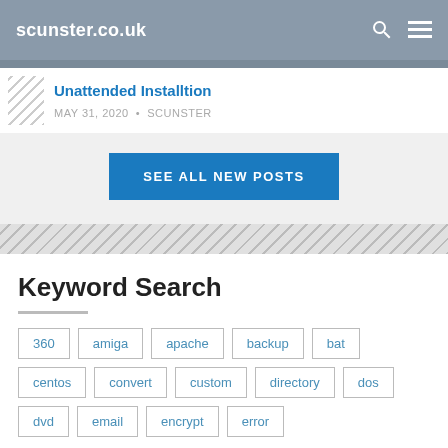scunster.co.uk
Unattended Installtion
MAY 31, 2020 • SCUNSTER
SEE ALL NEW POSTS
Keyword Search
360
amiga
apache
backup
bat
centos
convert
custom
directory
dos
dvd
email
encrypt
error